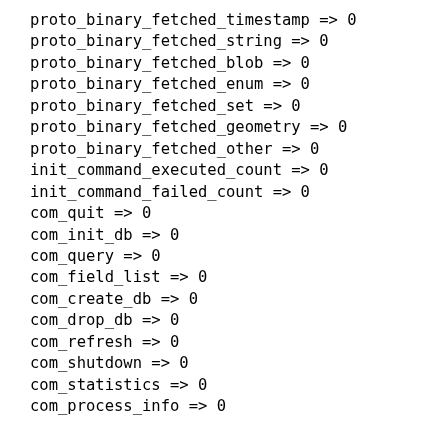proto_binary_fetched_timestamp => 0
proto_binary_fetched_string => 0
proto_binary_fetched_blob => 0
proto_binary_fetched_enum => 0
proto_binary_fetched_set => 0
proto_binary_fetched_geometry => 0
proto_binary_fetched_other => 0
init_command_executed_count => 0
init_command_failed_count => 0
com_quit => 0
com_init_db => 0
com_query => 0
com_field_list => 0
com_create_db => 0
com_drop_db => 0
com_refresh => 0
com_shutdown => 0
com_statistics => 0
com_process_info => 0